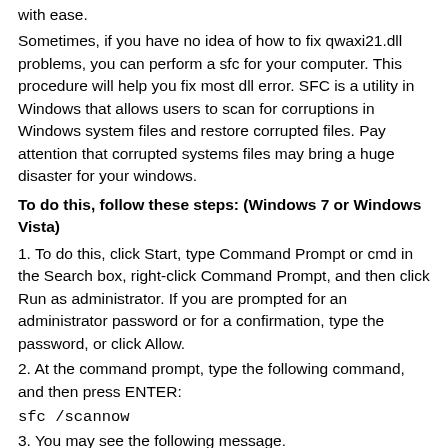with ease.
Sometimes, if you have no idea of how to fix qwaxi21.dll problems, you can perform a sfc for your computer. This procedure will help you fix most dll error. SFC is a utility in Windows that allows users to scan for corruptions in Windows system files and restore corrupted files. Pay attention that corrupted systems files may bring a huge disaster for your windows.
To do this, follow these steps: (Windows 7 or Windows Vista)
1. To do this, click Start, type Command Prompt or cmd in the Search box, right-click Command Prompt, and then click Run as administrator. If you are prompted for an administrator password or for a confirmation, type the password, or click Allow.
2. At the command prompt, type the following command, and then press ENTER:
sfc /scannow
3. You may see the following message.
Windows Resource Protection did not find any integrity violations. (This means that you do not have any missing or corrupted system files.)
Windows Resource Protection could not perform the requested